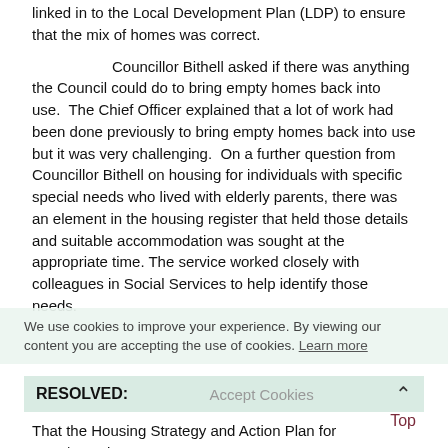linked in to the Local Development Plan (LDP) to ensure that the mix of homes was correct.
Councillor Bithell asked if there was anything the Council could do to bring empty homes back into use. The Chief Officer explained that a lot of work had been done previously to bring empty homes back into use but it was very challenging. On a further question from Councillor Bithell on housing for individuals with specific special needs who lived with elderly parents, there was an element in the housing register that held those details and suitable accommodation was sought at the appropriate time. The service worked closely with colleagues in Social Services to help identify those needs.
We use cookies to improve your experience. By viewing our content you are accepting the use of cookies. Learn more
RESOLVED:
Accept Cookies
Top
That the Housing Strategy and Action Plan for 2019/2024 be...